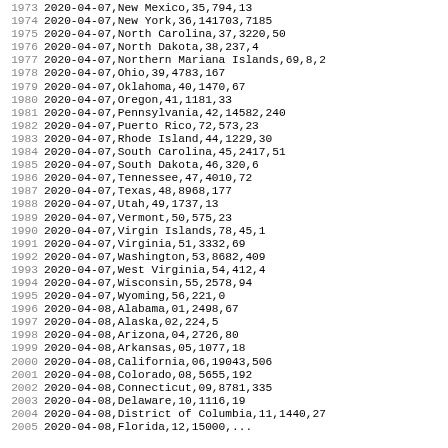| line | date | state | fips | cases | deaths |
| --- | --- | --- | --- | --- | --- |
| 1973 | 2020-04-07 | New Mexico | 35 | 794 | 13 |
| 1974 | 2020-04-07 | New York | 36 | 141703 | 7185 |
| 1975 | 2020-04-07 | North Carolina | 37 | 3220 | 50 |
| 1976 | 2020-04-07 | North Dakota | 38 | 237 | 4 |
| 1977 | 2020-04-07 | Northern Mariana Islands | 69 | 8 | 2 |
| 1978 | 2020-04-07 | Ohio | 39 | 4783 | 167 |
| 1979 | 2020-04-07 | Oklahoma | 40 | 1470 | 67 |
| 1980 | 2020-04-07 | Oregon | 41 | 1181 | 33 |
| 1981 | 2020-04-07 | Pennsylvania | 42 | 14582 | 240 |
| 1982 | 2020-04-07 | Puerto Rico | 72 | 573 | 23 |
| 1983 | 2020-04-07 | Rhode Island | 44 | 1229 | 30 |
| 1984 | 2020-04-07 | South Carolina | 45 | 2417 | 51 |
| 1985 | 2020-04-07 | South Dakota | 46 | 320 | 6 |
| 1986 | 2020-04-07 | Tennessee | 47 | 4010 | 72 |
| 1987 | 2020-04-07 | Texas | 48 | 8968 | 177 |
| 1988 | 2020-04-07 | Utah | 49 | 1737 | 13 |
| 1989 | 2020-04-07 | Vermont | 50 | 575 | 23 |
| 1990 | 2020-04-07 | Virgin Islands | 78 | 45 | 1 |
| 1991 | 2020-04-07 | Virginia | 51 | 3332 | 69 |
| 1992 | 2020-04-07 | Washington | 53 | 8682 | 409 |
| 1993 | 2020-04-07 | West Virginia | 54 | 412 | 4 |
| 1994 | 2020-04-07 | Wisconsin | 55 | 2578 | 94 |
| 1995 | 2020-04-07 | Wyoming | 56 | 221 | 0 |
| 1996 | 2020-04-08 | Alabama | 01 | 2498 | 67 |
| 1997 | 2020-04-08 | Alaska | 02 | 224 | 5 |
| 1998 | 2020-04-08 | Arizona | 04 | 2726 | 80 |
| 1999 | 2020-04-08 | Arkansas | 05 | 1077 | 18 |
| 2000 | 2020-04-08 | California | 06 | 19043 | 506 |
| 2001 | 2020-04-08 | Colorado | 08 | 5655 | 192 |
| 2002 | 2020-04-08 | Connecticut | 09 | 8781 | 335 |
| 2003 | 2020-04-08 | Delaware | 10 | 1116 | 19 |
| 2004 | 2020-04-08 | District of Columbia | 11 | 1440 | 27 |
| 2005 | 2020-04-08 | Florida | 12 | 15000 | ... |